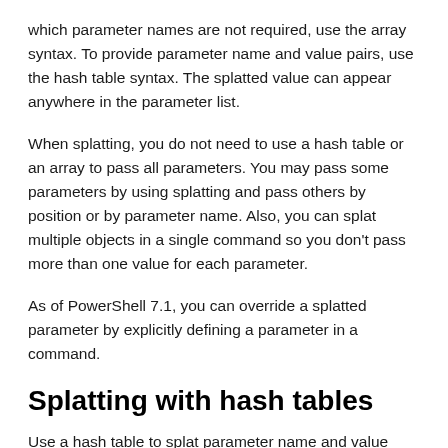which parameter names are not required, use the array syntax. To provide parameter name and value pairs, use the hash table syntax. The splatted value can appear anywhere in the parameter list.
When splatting, you do not need to use a hash table or an array to pass all parameters. You may pass some parameters by using splatting and pass others by position or by parameter name. Also, you can splat multiple objects in a single command so you don't pass more than one value for each parameter.
As of PowerShell 7.1, you can override a splatted parameter by explicitly defining a parameter in a command.
Splatting with hash tables
Use a hash table to splat parameter name and value pairs.